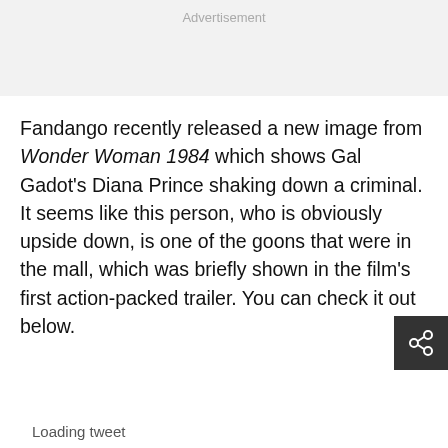Advertisement
Fandango recently released a new image from Wonder Woman 1984 which shows Gal Gadot's Diana Prince shaking down a criminal. It seems like this person, who is obviously upside down, is one of the goons that were in the mall, which was briefly shown in the film's first action-packed trailer. You can check it out below.
Loading tweet